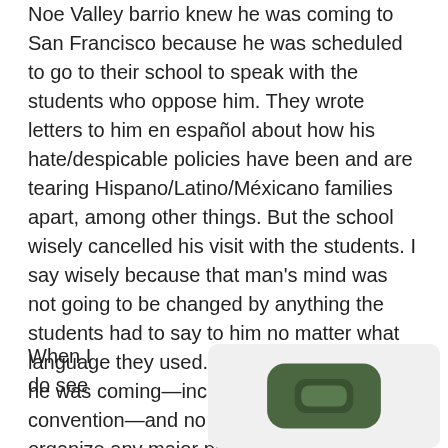Noe Valley barrio knew he was coming to San Francisco because he was scheduled to go to their school to speak with the students who oppose him. They wrote letters to him en español about how his hate/despicable policies have been and are tearing Hispano/Latino/Méxicano families apart, among other things. But the school wisely cancelled his visit with the students. I say wisely because that man's mind was not going to be changed by anything the students had to say to him no matter what language they used. So, yes, people knew he was coming—including that alarm convention—and no one bothered to organize any major protest against this piece of hate. Rather incredible when you think about it.

When I do see
[Figure (photo): A dark olive/green colored rounded rectangle shape, resembling a phone case or similar accessory, shown at the bottom right of the page.]